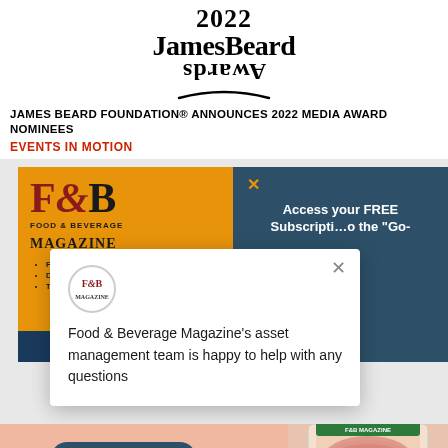[Figure (logo): 2022 James Beard Awards logo with mirrored/flipped 'Awards' text and decorative arc underline]
JAMES BEARD FOUNDATION® ANNOUNCES 2022 MEDIA AWARD NOMINEES
EVENTS IN MOTION
[Figure (screenshot): Screenshot of Food & Beverage Magazine website with orange panel showing F&B logo, dark teal panel with 'Access your FREE Subscription to the Go-...' text, an overlaid popup with F&B Magazine logo showing 'Food & Beverage Magazine's asset management team is happy to help with any questions', a 'FIND A STORE' button at bottom, and a meat product image on the right with a chat bubble icon]